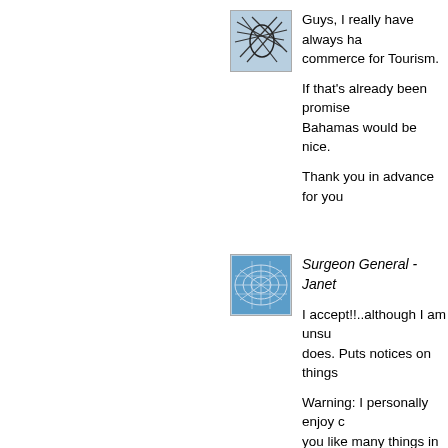[Figure (illustration): User avatar icon - abstract network/lines pattern on blue-grey background]
Guys, I really have always ha... commerce for Tourism.

If that's already been promise... Bahamas would be nice.

Thank you in advance for you...
[Figure (illustration): User avatar icon - abstract grid/web pattern on blue background, labeled Surgeon General - Janet]
Surgeon General - Janet

I accept!!..although I am unsu... does. Puts notices on things...

Warning: I personally enjoy c... you like many things in life.

or maybe I'll dictate that wise... Heads up: Honor your father... Heads up: Do not steal

If anyone protests, I'll just use... refrain from taking issue with...